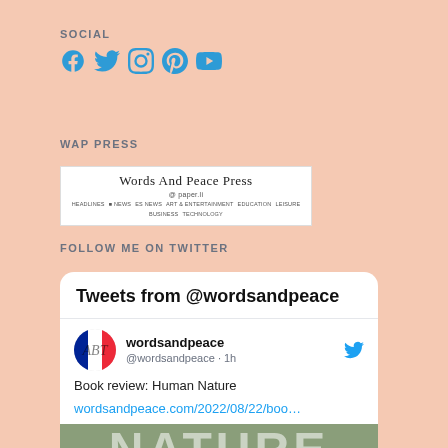SOCIAL
[Figure (illustration): Social media icons: Facebook, Twitter, Instagram, Pinterest, YouTube in blue]
WAP PRESS
[Figure (screenshot): Words And Peace Press website header on paper.li]
FOLLOW ME ON TWITTER
[Figure (screenshot): Twitter widget showing Tweets from @wordsandpeace, with tweet: Book review: Human Nature with link wordsandpeace.com/2022/08/22/boo... and book cover image showing NATURE text]